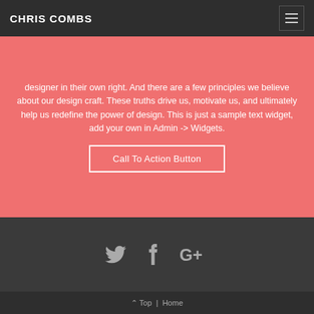CHRIS COMBS
designer in their own right. And there are a few principles we believe about our design craft. These truths drive us, motivate us, and ultimately help us redefine the power of design. This is just a sample text widget, add your own in Admin -> Widgets.
Call To Action Button
[Figure (infographic): Social media icons: Twitter bird, Facebook f, Google G+ in gray on dark background]
^ Top | Home